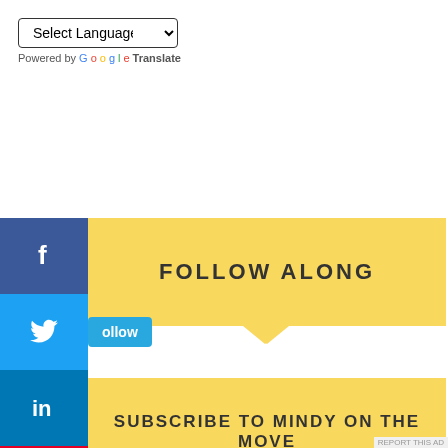Select Language (dropdown) — Powered by Google Translate
[Figure (infographic): Social media sharing sidebar with icons: Facebook (blue), Twitter (light blue), LinkedIn (blue), Pinterest (red), Reddit (grey-blue), Mixi (red), YouTube (dark grey), Email (grey)]
FOLLOW ALONG
ollow (Twitter follow tooltip)
SUBSCRIBE TO MINDY ON THE MOVE
Enter your email address to receive new content
Advertisements
REPORT THIS AD